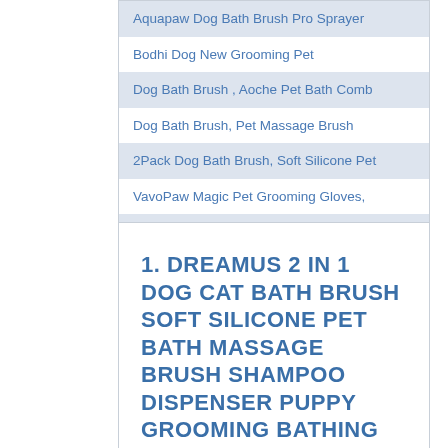Aquapaw Dog Bath Brush Pro Sprayer
Bodhi Dog New Grooming Pet
Dog Bath Brush , Aoche Pet Bath Comb
Dog Bath Brush, Pet Massage Brush
2Pack Dog Bath Brush, Soft Silicone Pet
VavoPaw Magic Pet Grooming Gloves,
ZOOPOLR Pet Silicone Shampoo Brush
1. DREAMUS 2 IN 1 DOG CAT BATH BRUSH SOFT SILICONE PET BATH MASSAGE BRUSH SHAMPOO DISPENSER PUPPY GROOMING BATHING TOOLS FOR